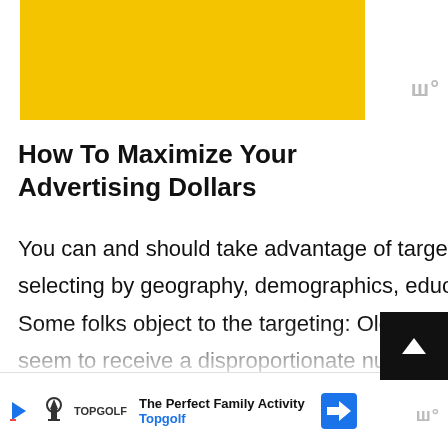[Figure (other): Yellow advertisement banner at top of page]
How To Maximize Your Advertising Dollars
You can and should take advantage of targeting your audience as closely as the tools allow, selecting by geography, demographics, education, and interest area whenever possible. Some folks object to the targeting: Older wo[men] seem to receive a disproportionate number of ads for skin creams and diets; those who d[eclare their interest to Europe, have considerably d...]
[Figure (other): Bottom advertisement banner for Topgolf - The Perfect Family Activity]